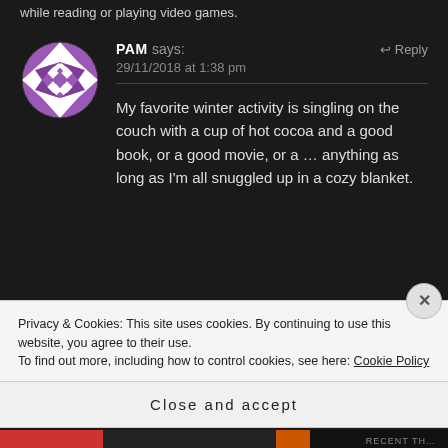while reading or playing video games.
[Figure (illustration): Purple and white geometric avatar with diamond shapes in a circle]
PAM says: 29/11/2018 at 1:38 pm
My favorite winter activity is singling on the couch with a cup of hot cocoa and a good book, or a good movie, or a ... anything as long as I'm all snuggled up in a cozy blanket.
Privacy & Cookies: This site uses cookies. By continuing to use this website, you agree to their use. To find out more, including how to control cookies, see here: Cookie Policy
Close and accept